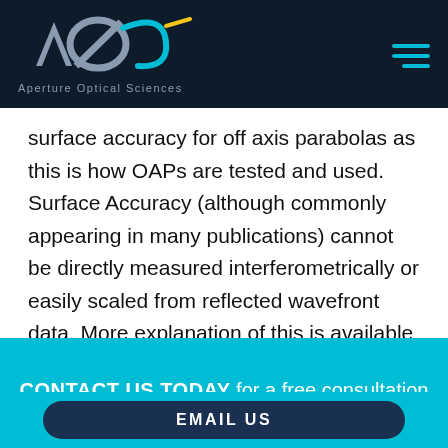Aperture Optical Sciences
surface accuracy for off axis parabolas as this is how OAPs are tested and used. Surface Accuracy (although commonly appearing in many publications) cannot be directly measured interferometrically or easily scaled from reflected wavefront data. More explanation of this is available in our application note, “Specifying
CONTACT US TODAY for a free consultation with one of our applications engineers
EMAIL US